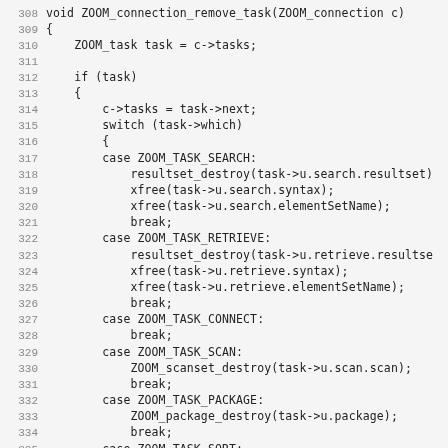[Figure (screenshot): Source code listing showing C function ZOOM_connection_remove_task with line numbers 308-339, containing switch statement handling ZOOM task types: ZOOM_TASK_SEARCH, ZOOM_TASK_RETRIEVE, ZOOM_TASK_CONNECT, ZOOM_TASK_SCAN, ZOOM_TASK_PACKAGE, ZOOM_TASK_SORT, and default.]